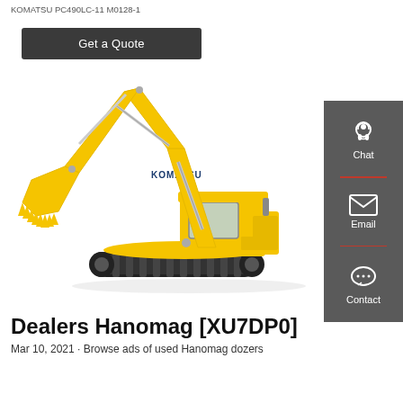KOMATSU PC490LC-11 M0128-1
Get a Quote
[Figure (photo): Yellow Komatsu large excavator with boom, arm and bucket extended, on tracked undercarriage. KOMATSU branding on cab.]
Dealers Hanomag [XU7DP0]
Mar 10, 2021 · Browse ads of used Hanomag dozers